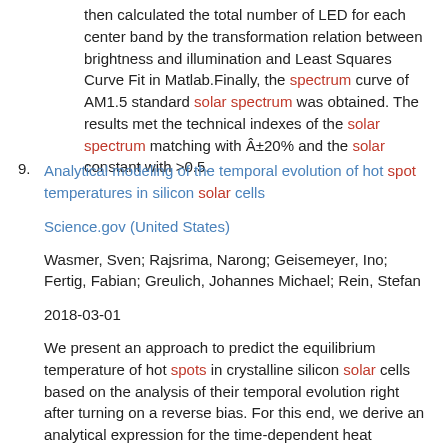then calculated the total number of LED for each center band by the transformation relation between brightness and illumination and Least Squares Curve Fit in Matlab.Finally, the spectrum curve of AM1.5 standard solar spectrum was obtained. The results met the technical indexes of the solar spectrum matching with Â±20% and the solar constant with >0.5.
9. Analytical modeling of the temporal evolution of hot spot temperatures in silicon solar cells
Science.gov (United States)
Wasmer, Sven; Rajsrima, Narong; Geisemeyer, Ino; Fertig, Fabian; Greulich, Johannes Michael; Rein, Stefan
2018-03-01
We present an approach to predict the equilibrium temperature of hot spots in crystalline silicon solar cells based on the analysis of their temporal evolution right after turning on a reverse bias. For this end, we derive an analytical expression for the time-dependent heat diffusion of a breakdown channel that is assumed to be cylindrical. We validate this by means of thermography imaging of hot spots right after turning on a